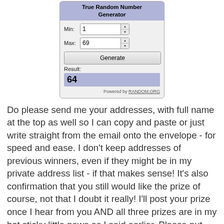[Figure (screenshot): Screenshot of a True Random Number Generator widget showing Min: 1, Max: 69, a Generate button, and Result: 64, powered by RANDOM.ORG]
Do please send me your addresses, with full name at the top as well so I can copy and paste or just write straight from the email onto the envelope - for speed and ease. I don't keep addresses of previous winners, even if they might be in my private address list - if that makes sense! It's also confirmation that you still would like the prize of course, not that I doubt it really! I'll post your prize once I hear from you AND all three prizes are in my hot sticky little paws as I said earlier. Please put Playground Winner or similar in the subject line of your email in case it drops into my junk mail. Email address is on RH sidebar as always.